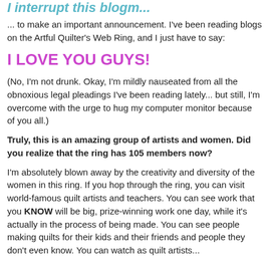I interrupt this blogm...
... to make an important announcement. I've been reading blogs on the Artful Quilter's Web Ring, and I just have to say:
I LOVE YOU GUYS!
(No, I'm not drunk. Okay, I'm mildly nauseated from all the obnoxious legal pleadings I've been reading lately... but still, I'm overcome with the urge to hug my computer monitor because of you all.)
Truly, this is an amazing group of artists and women. Did you realize that the ring has 105 members now?
I'm absolutely blown away by the creativity and diversity of the women in this ring. If you hop through the ring, you can visit world-famous quilt artists and teachers. You can see work that you KNOW will be big, prize-winning work one day, while it's actually in the process of being made. You can see people making quilts for their kids and their friends and people they don't even know. You can watch as quilt artists...